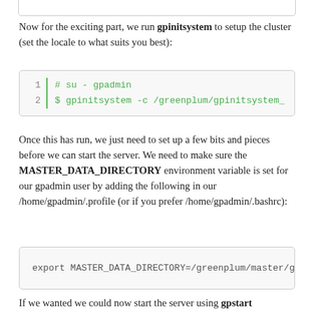Now for the exciting part, we run gpinitsystem to setup the cluster (set the locale to what suits you best):
[Figure (screenshot): Code block showing: line 1: # su - gpadmin, line 2: $ gpinitsystem -c /greenplum/gpinitsystem_]
Once this has run, we just need to set up a few bits and pieces before we can start the server. We need to make sure the MASTER_DATA_DIRECTORY environment variable is set for our gpadmin user by adding the following in our /home/gpadmin/.profile (or if you prefer /home/gpadmin/.bashrc):
[Figure (screenshot): Code block showing: export MASTER_DATA_DIRECTORY=/greenplum/master/gpseg]
If we wanted we could now start the server using gpstart